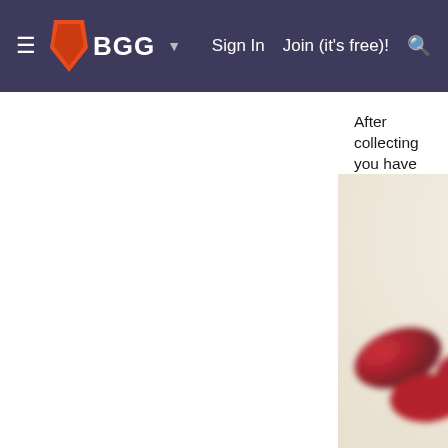BGG — Sign In | Join (it's free)!
After collecting you have special deliveries
[Figure (photo): Close-up photograph of colorful candy or jelly beans — yellow, orange, and red translucent oval candies scattered on a white surface, with shallow depth of field blurring the background candies.]